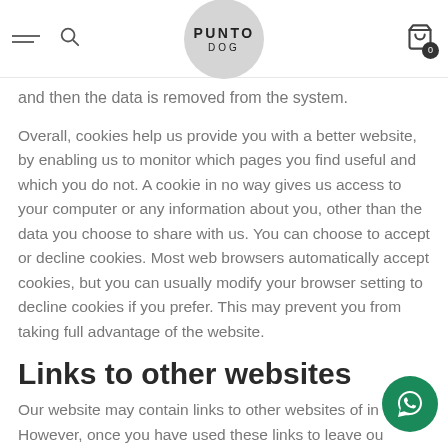PUNTO DOG
and then the data is removed from the system.
Overall, cookies help us provide you with a better website, by enabling us to monitor which pages you find useful and which you do not. A cookie in no way gives us access to your computer or any information about you, other than the data you choose to share with us. You can choose to accept or decline cookies. Most web browsers automatically accept cookies, but you can usually modify your browser setting to decline cookies if you prefer. This may prevent you from taking full advantage of the website.
Links to other websites
Our website may contain links to other websites of in… However, once you have used these links to leave ou… you should note that we do not have any control over that